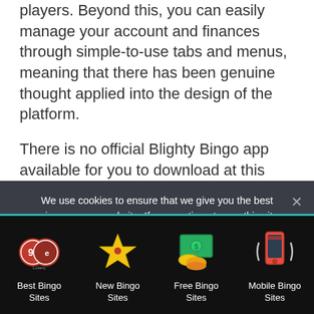players. Beyond this, you can easily manage your account and finances through simple-to-use tabs and menus, meaning that there has been genuine thought applied into the design of the platform.
There is no official Blighty Bingo app available for you to download at this time, however, we think the mobile site works well enough on its own. Simply navigate to the
We use cookies to ensure that we give you the best experience on our website. If you continue to use this site we will assume that you are happy with it.
Best Bingo Sites | New Bingo Sites | Free Bingo Sites | Mobile Bingo Sites